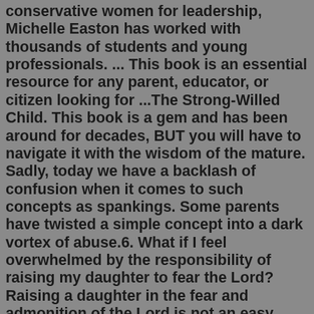conservative women for leadership, Michelle Easton has worked with thousands of students and young professionals. ... This book is an essential resource for any parent, educator, or citizen looking for ...The Strong-Willed Child. This book is a gem and has been around for decades, BUT you will have to navigate it with the wisdom of the mature. Sadly, today we have a backlash of confusion when it comes to such concepts as spankings. Some parents have twisted a simple concept into a dark vortex of abuse.6. What if I feel overwhelmed by the responsibility of raising my daughter to fear the Lord? Raising a daughter in the fear and admonition of the Lord is not an easy calling. While we labor in the home toward an eternal kingdom, we pray in hopeful expectation for our daughter's salvation, plant seeds of faith, tirelessly water with the word ...Let's be a little more definitive on what moms can do to raise women who will achieve self-sufficiency in adulthood. The following list is compiled from research studies conducted by Dr. Sylvia Rimm (based on 1,000 successful women)